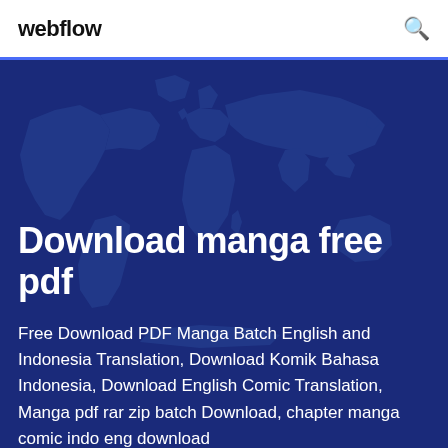webflow
Download manga free pdf
Free Download PDF Manga Batch English and Indonesia Translation, Download Komik Bahasa Indonesia, Download English Comic Translation, Manga pdf rar zip batch Download, chapter manga comic indo eng download